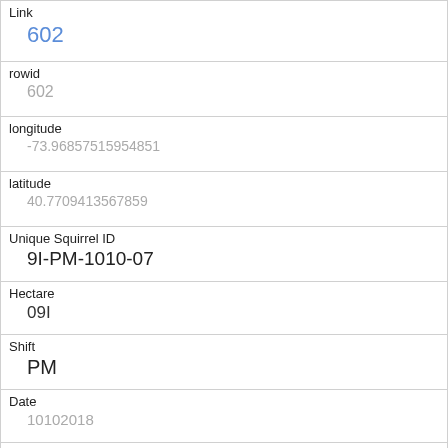| Link | 602 |
| rowid | 602 |
| longitude | -73.96857515954851 |
| latitude | 40.7709413567859 |
| Unique Squirrel ID | 9I-PM-1010-07 |
| Hectare | 09I |
| Shift | PM |
| Date | 10102018 |
| Hectare Squirrel Number | 7 |
| Age | Adult |